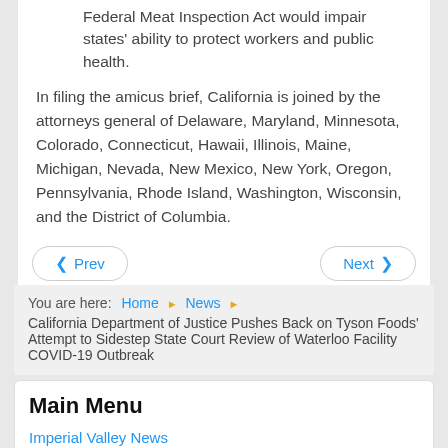Federal Meat Inspection Act would impair states' ability to protect workers and public health.
In filing the amicus brief, California is joined by the attorneys general of Delaware, Maryland, Minnesota, Colorado, Connecticut, Hawaii, Illinois, Maine, Michigan, Nevada, New Mexico, New York, Oregon, Pennsylvania, Rhode Island, Washington, Wisconsin, and the District of Columbia.
Prev | Next (navigation buttons)
Tweet
You are here: Home > News > California Department of Justice Pushes Back on Tyson Foods' Attempt to Sidestep State Court Review of Waterloo Facility COVID-19 Outbreak
Main Menu
Imperial Valley News
Latest Earthquakes